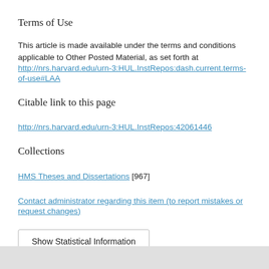Terms of Use
This article is made available under the terms and conditions applicable to Other Posted Material, as set forth at http://nrs.harvard.edu/urn-3:HUL.InstRepos:dash.current.terms-of-use#LAA
Citable link to this page
http://nrs.harvard.edu/urn-3:HUL.InstRepos:42061446
Collections
HMS Theses and Dissertations [967]
Contact administrator regarding this item (to report mistakes or request changes)
Show Statistical Information